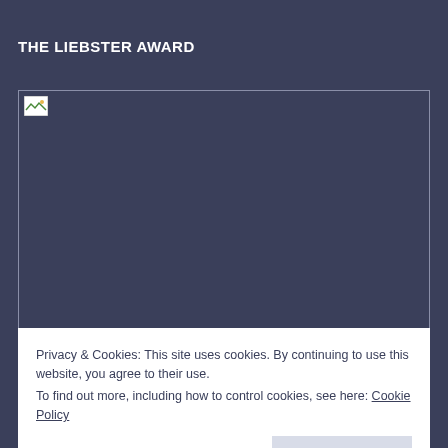THE LIEBSTER AWARD
[Figure (photo): Broken/unloaded image placeholder with a small broken image icon in the top-left corner, outlined by a thin border]
Privacy & Cookies: This site uses cookies. By continuing to use this website, you agree to their use.
To find out more, including how to control cookies, see here: Cookie Policy
Close and accept
BLOGS | FOLLOW